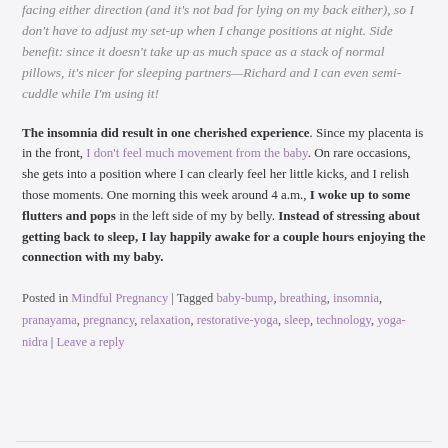facing either direction (and it's not bad for lying on my back either), so I don't have to adjust my set-up when I change positions at night. Side benefit: since it doesn't take up as much space as a stack of normal pillows, it's nicer for sleeping partners—Richard and I can even semi-cuddle while I'm using it!
The insomnia did result in one cherished experience. Since my placenta is in the front, I don't feel much movement from the baby. On rare occasions, she gets into a position where I can clearly feel her little kicks, and I relish those moments. One morning this week around 4 a.m., I woke up to some flutters and pops in the left side of my by belly. Instead of stressing about getting back to sleep, I lay happily awake for a couple hours enjoying the connection with my baby.
Posted in Mindful Pregnancy | Tagged baby-bump, breathing, insomnia, pranayama, pregnancy, relaxation, restorative-yoga, sleep, technology, yoga-nidra | Leave a reply